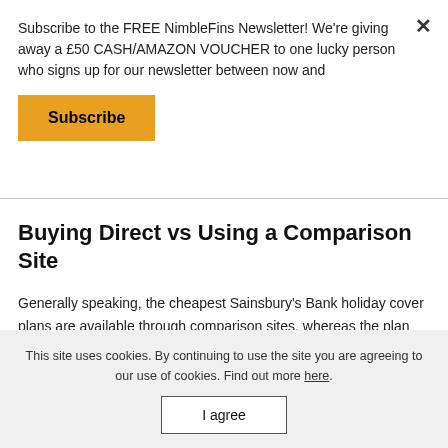Subscribe to the FREE NimbleFins Newsletter! We're giving away a £50 CASH/AMAZON VOUCHER to one lucky person who signs up for our newsletter between now and
Subscribe
Buying Direct vs Using a Comparison Site
Generally speaking, the cheapest Sainsbury's Bank holiday cover plans are available through comparison sites, whereas the plan with the highest cover is available direct from the
This site uses cookies. By continuing to use the site you are agreeing to our use of cookies. Find out more here.
I agree